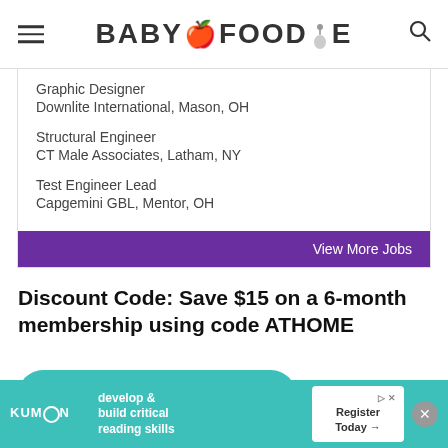BABY FOODIE
Graphic Designer
Downlite International, Mason, OH
Structural Engineer
CT Male Associates, Latham, NY
Test Engineer Lead
Capgemini GBL, Mentor, OH
View More Jobs
Discount Code: Save $15 on a 6-month membership using code ATHOME
GET COOKING TODAY
[Figure (screenshot): Advertisement banner for Kumon: develop & build critical reading skills. Register Today arrow button.]